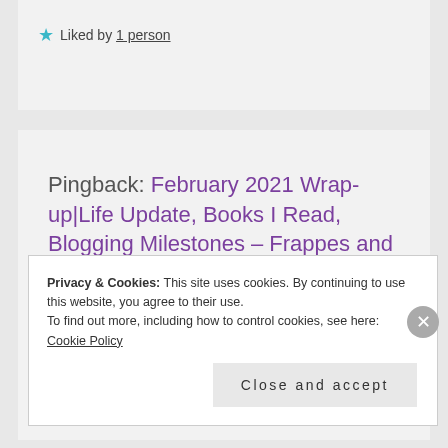★ Liked by 1 person
Pingback: February 2021 Wrap-up|Life Update, Books I Read, Blogging Milestones – Frappes and Fiction
Privacy & Cookies: This site uses cookies. By continuing to use this website, you agree to their use. To find out more, including how to control cookies, see here: Cookie Policy
Close and accept